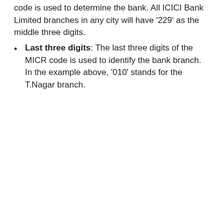code is used to determine the bank. All ICICI Bank Limited branches in any city will have '229' as the middle three digits.
Last three digits: The last three digits of the MICR code is used to identify the bank branch. In the example above, '010' stands for the T.Nagar branch.